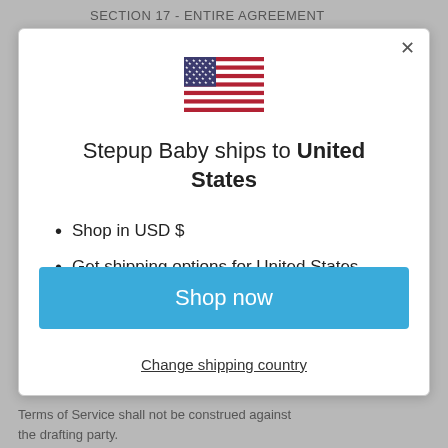SECTION 17 - ENTIRE AGREEMENT
[Figure (screenshot): Modal dialog showing US flag and shipping information for Stepup Baby website]
Stepup Baby ships to United States
Shop in USD $
Get shipping options for United States
Shop now
Change shipping country
Terms of Service shall not be construed against the drafting party.